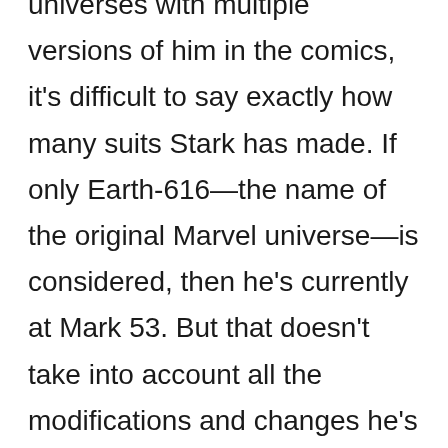universes with multiple versions of him in the comics, it's difficult to say exactly how many suits Stark has made. If only Earth-616—the name of the original Marvel universe—is considered, then he's currently at Mark 53. But that doesn't take into account all the modifications and changes he's made to these suits, nor the ones in other universes. Let's just say he's made well over 100 suits and leave it at that.